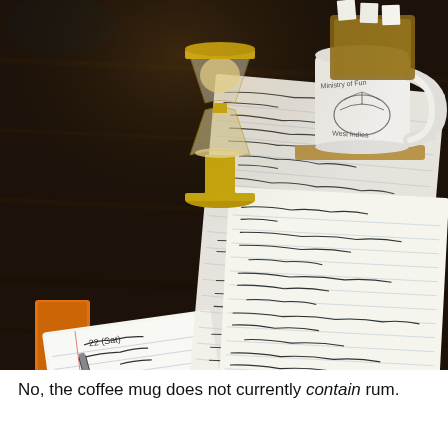[Figure (photo): A dark wooden desk surface with handwritten notes on lined index cards and a small notebook with a pen resting on it. In the background is a brass hourglass and a white coffee mug reading 'Ministry of Fun West Indies' with an illustration of a ship, sitting on a cork coaster. Wooden box/card holder visible in the upper right.]
No, the coffee mug does not currently contain rum.